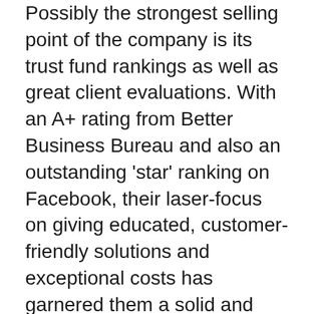Possibly the strongest selling point of the company is its trust fund rankings as well as great client evaluations. With an A+ rating from Better Business Bureau and also an outstanding 'star' ranking on Facebook, their laser-focus on giving educated, customer-friendly solutions and exceptional costs has garnered them a solid and also well-deserved consumer base.
Endorsements from customers prove that Augusta Priceless Metals has actually lived up to its assurance of outstanding customer support. They are known for high client commitment and repeat business, as they serve consumers with openness and honesty. As constantly, we suggest a personal phone call to the firm to review issues of cost and